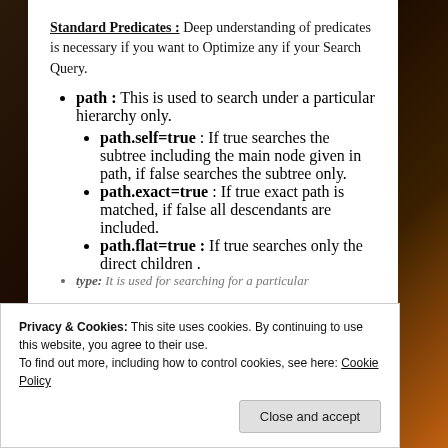Standard Predicates :
Deep understanding of predicates is necessary if you want to Optimize any if your Search Query.
path : This is used to search under a particular hierarchy only.
path.self=true : If true searches the subtree including the main node given in path, if false searches the subtree only.
path.exact=true : If true exact path is matched, if false all descendants are included.
path.flat=true : If true searches only the direct children .
type: It is used for searching for a particular
Privacy & Cookies: This site uses cookies. By continuing to use this website, you agree to their use. To find out more, including how to control cookies, see here: Cookie Policy
Close and accept